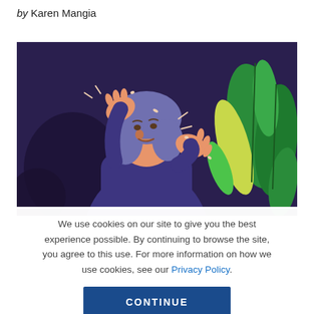by Karen Mangia
[Figure (illustration): Illustration of a stressed person with hands raised near head, wearing a purple hooded garment, set against a dark purple background with green tropical leaves on the right side.]
We use cookies on our site to give you the best experience possible. By continuing to browse the site, you agree to this use. For more information on how we use cookies, see our Privacy Policy.
CONTINUE